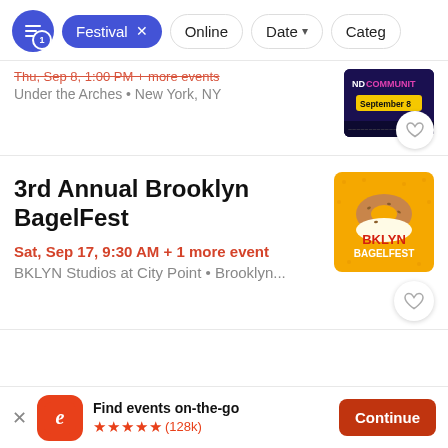Festival × | Online | Date ↓ | Category
Thu, Sep 8, 1:00 PM + more events
Under the Arches • New York, NY
[Figure (screenshot): Community event thumbnail showing 'ND COMMUNITY' text on dark purple background with 'September 8' yellow badge]
3rd Annual Brooklyn BagelFest
Sat, Sep 17, 9:30 AM + 1 more event
BKLYN Studios at City Point • Brooklyn...
[Figure (illustration): BagelFest event poster with orange background showing a bagel illustration and 'BKLYN BAGELFEST' text in red and white]
Find events on-the-go ★★★★★ (128k)
Continue